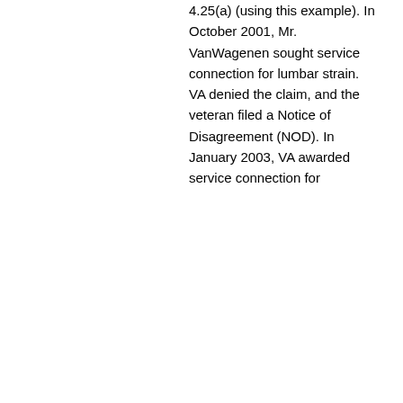4.25(a) (using this example). In October 2001, Mr. VanWagenen sought service connection for lumbar strain. VA denied the claim, and the veteran filed a Notice of Disagreement (NOD). In January 2003, VA awarded service connection for